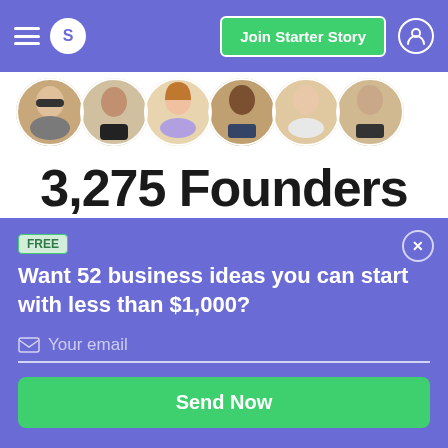S  Join Starter Story
[Figure (photo): Row of circular profile photos of founders]
3,275 Founders
...show you exactly how they built
FREE
Want 52 business ideas you can start with less than $1,000?
Your email
Send Now